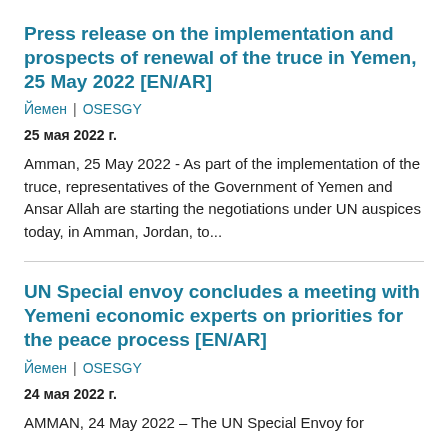Press release on the implementation and prospects of renewal of the truce in Yemen, 25 May 2022 [EN/AR]
Йемен | OSESGY
25 мая 2022 г.
Amman, 25 May 2022 - As part of the implementation of the truce, representatives of the Government of Yemen and Ansar Allah are starting the negotiations under UN auspices today, in Amman, Jordan, to...
UN Special envoy concludes a meeting with Yemeni economic experts on priorities for the peace process [EN/AR]
Йемен | OSESGY
24 мая 2022 г.
AMMAN, 24 May 2022 – The UN Special Envoy for